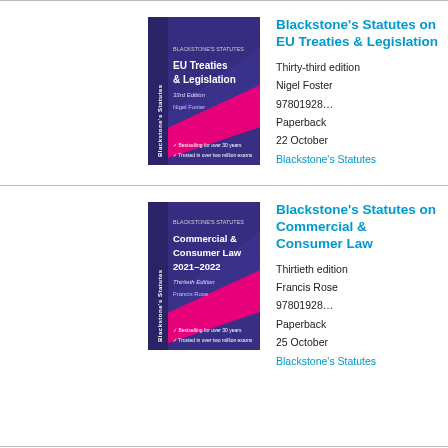[Figure (illustration): Book cover: Blackstone's Statutes EU Treaties & Legislation, 33rd Edition. Purple/violet background with pink diagonal band and white text.]
Blackstone's Statutes on EU Treaties & Legislation
Thirty-third edition
Nigel Foster
9780192893... Paperback 22 October Blackstone's Statutes
[Figure (illustration): Book cover: Blackstone's Statutes Commercial & Consumer Law 2021-2022, Thirtieth Edition. Purple/violet background with pink diagonal band and white text.]
Blackstone's Statutes on Commercial & Consumer Law
Thirtieth edition
Francis Rose
9780192893... Paperback 25 October Blackstone's Statutes